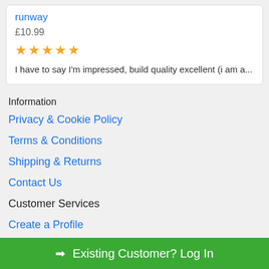runway
£10.99
★★★★★
I have to say I'm impressed, build quality excellent (i am a...
Information
Privacy & Cookie Policy
Terms & Conditions
Shipping & Returns
Contact Us
Customer Services
Create a Profile
➡ Existing Customer? Log In